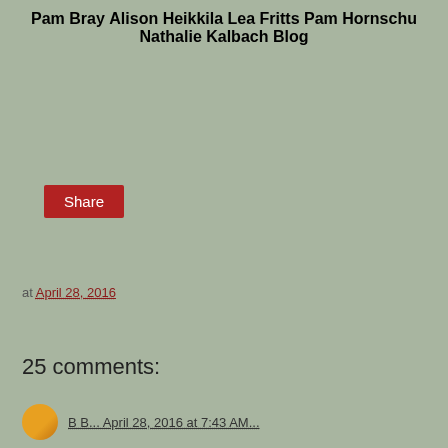Pam Bray
Alison Heikkila
Lea Fritts
Pam Hornschu
Nathalie Kalbach Blog
at April 28, 2016
Share
25 comments:
B B... April 28, 2016 at 7:43 AM...